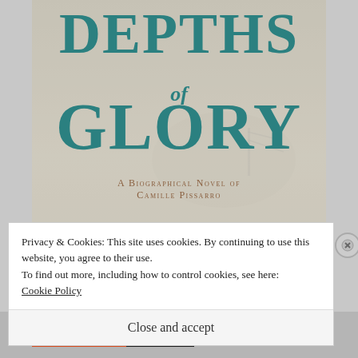[Figure (photo): Book cover of 'Depths of Glory: A Biographical Novel of Camille Pissarro' by Irving Stone. Teal/teal-colored large text on a pale textured background with the author name 'IRVING' partially visible at the bottom.]
Privacy & Cookies: This site uses cookies. By continuing to use this website, you agree to their use.
To find out more, including how to control cookies, see here:
Cookie Policy
Close and accept